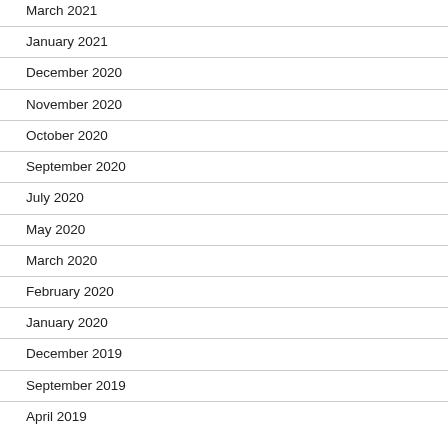March 2021
January 2021
December 2020
November 2020
October 2020
September 2020
July 2020
May 2020
March 2020
February 2020
January 2020
December 2019
September 2019
April 2019